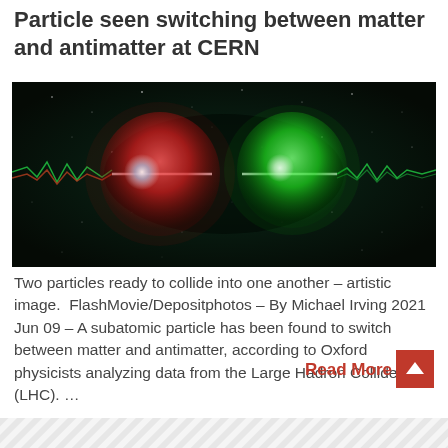Particle seen switching between matter and antimatter at CERN
[Figure (illustration): Artistic image of two particles (one red/pink glowing sphere on the left, one green glowing sphere on the right) with energy beams between them on a dark space background, representing particle collision.]
Two particles ready to collide into one another – artistic image.  FlashMovie/Depositphotos – By Michael Irving 2021 Jun 09 – A subatomic particle has been found to switch between matter and antimatter, according to Oxford physicists analyzing data from the Large Hadron Collider (LHC). …
Read More